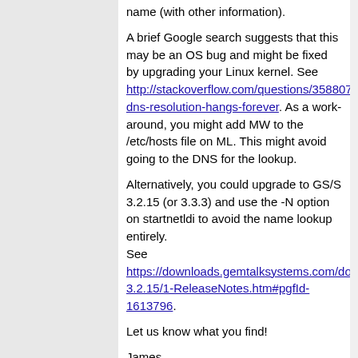name (with other information).
A brief Google search suggests that this may be an OS bug and might be fixed by upgrading your Linux kernel. See http://stackoverflow.com/questions/35880798/java-dns-resolution-hangs-forever. As a work-around, you might add MW to the /etc/hosts file on ML. This might avoid going to the DNS for the lookup.
Alternatively, you could upgrade to GS/S 3.2.15 (or 3.3.3) and use the -N option on startnetldi to avoid the name lookup entirely. See https://downloads.gemtalksystems.com/docs/GemStone/ReleaseNotes-3.2.15/1-ReleaseNotes.htm#pgfId-1613796.
Let us know what you find!
James
On Mar 28, 2017, at 12:49 PM, brianstone via GemStone-Smalltalk <[hidden email]> wrote:
Hi James,
I made the tests you mentioned, I have obtained the following results: